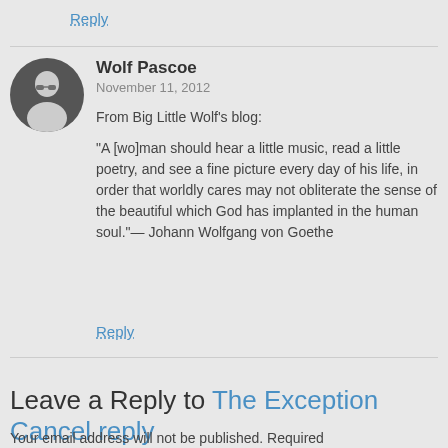Reply
Wolf Pascoe
November 11, 2012

From Big Little Wolf's blog:

“A [wo]man should hear a little music, read a little poetry, and see a fine picture every day of his life, in order that worldly cares may not obliterate the sense of the beautiful which God has implanted in the human soul.”— Johann Wolfgang von Goethe
Reply
Leave a Reply to The Exception Cancel reply
Your email address will not be published. Required